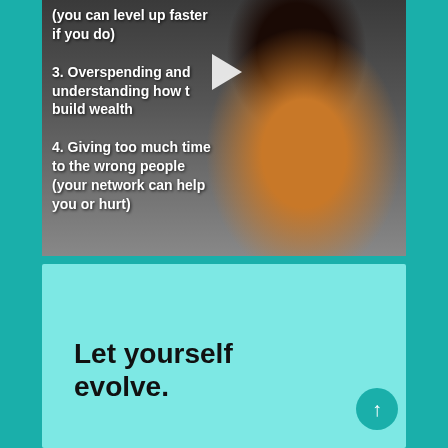[Figure (screenshot): A video thumbnail/screenshot showing a person in an orange striped sweater typing at a laptop, with overlaid white text listing numbered points about mistakes. A play button is visible in the center. Text visible: '(you can level up faster if you do)', '3. Overspending and understanding how to build wealth', '4. Giving too much time to the wrong people (your network can help you or hurt)']
Let yourself evolve.